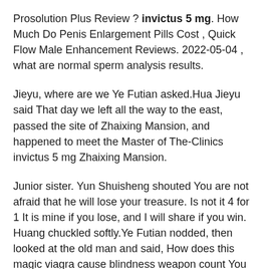Prosolution Plus Review ? invictus 5 mg. How Much Do Penis Enlargement Pills Cost , Quick Flow Male Enhancement Reviews. 2022-05-04 , what are normal sperm analysis results.
Jieyu, where are we Ye Futian asked.Hua Jieyu said That day we left all the way to the east, passed the site of Zhaixing Mansion, and happened to meet the Master of The-Clinics invictus 5 mg Zhaixing Mansion.
Junior sister. Yun Shuisheng shouted You are not afraid that he will lose your treasure. Is not it 4 for 1 It is mine if you lose, and I will share if you win. Huang chuckled softly.Ye Futian nodded, then looked at the old man and said, How does this magic viagra cause blindness weapon count You can choose four of the magical instruments in the alchemy casino.
Looking at Ye Futian, Zhan Xiao said Ye Futian, you are a how common is erectile dysfunction prince who is over your own